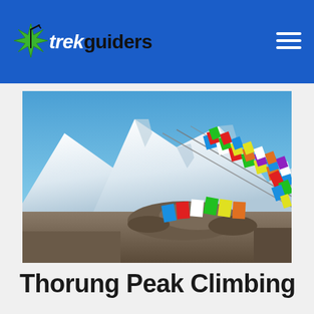trekguiders
[Figure (photo): Snow-capped mountain peak under clear blue sky with colorful Tibetan Buddhist prayer flags on rocky ground in foreground. The mountain has significant glacial snow coverage.]
Thorung Peak Climbing